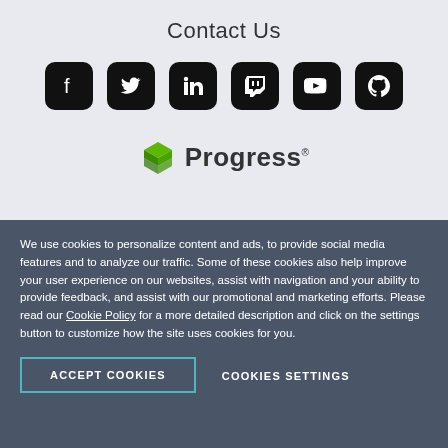Contact Us
[Figure (illustration): Six social media icons in black rounded-rectangle buttons: Facebook, Twitter, LinkedIn, Twitch, YouTube, GitHub]
[Figure (logo): Progress software logo: green stacked-layers icon followed by the word 'Progress' with a registered trademark symbol]
We use cookies to personalize content and ads, to provide social media features and to analyze our traffic. Some of these cookies also help improve your user experience on our websites, assist with navigation and your ability to provide feedback, and assist with our promotional and marketing efforts. Please read our Cookie Policy for a more detailed description and click on the settings button to customize how the site uses cookies for you.
ACCEPT COOKIES
COOKIES SETTINGS